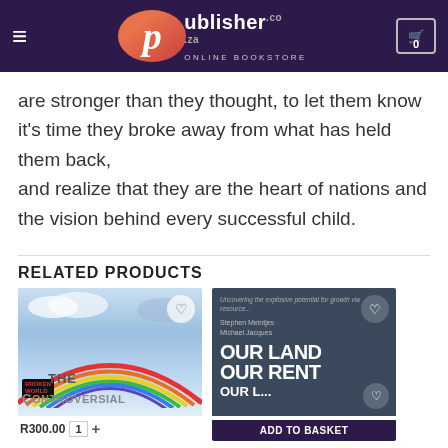Publisher.co.za Online Bookstore
are stronger than they thought, to let them know it's time they broke away from what has held them back, and realize that they are the heart of nations and the vision behind every successful child.
RELATED PRODUCTS
[Figure (photo): Book cover thumbnail for 'The Controversial' with rainbow and clouds background, plus Broken World badge]
[Figure (photo): Book cover for 'Our Land Our Rent' by Stephen Meintjes and Michael Jacques on dark blue background]
R300.00  1  +
ADD TO BASKET